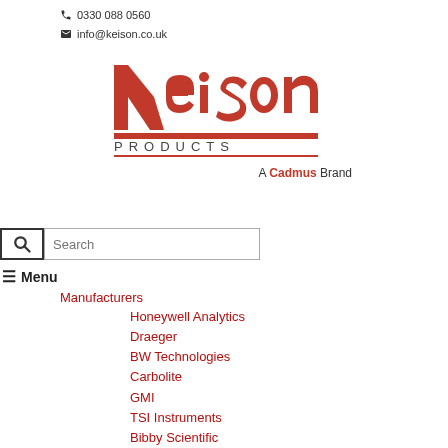0330 088 0560
info@keison.co.uk
[Figure (logo): Keison Products logo in red with 'A Cadmus Brand' tagline]
Search
≡ Menu
Manufacturers
Honeywell Analytics
Draeger
BW Technologies
Carbolite
GMI
TSI Instruments
Bibby Scientific
Oldham
View All Manufacturers
Laboratory
Fixed Gas & Flame Detection
Portable Gas Detection
Gas Analysers
Breathing Apparatus